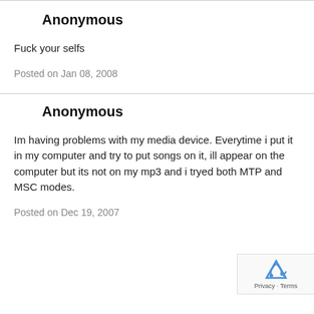Anonymous
Fuck your selfs
Posted on Jan 08, 2008
Anonymous
Im having problems with my media device. Everytime i put it in my computer and try to put songs on it, ill appear on the computer but its not on my mp3 and i tryed both MTP and MSC modes.
Posted on Dec 19, 2007